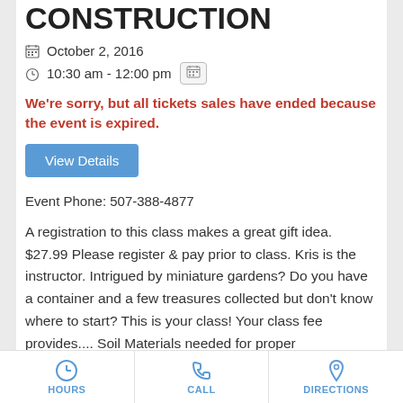CONSTRUCTION
October 2, 2016
10:30 am - 12:00 pm
We're sorry, but all tickets sales have ended because the event is expired.
View Details
Event Phone: 507-388-4877
A registration to this class makes a great gift idea. $27.99 Please register & pay prior to class. Kris is the instructor. Intrigued by miniature gardens? Do you have a container and a few treasures collected but don't know where to start? This is your class! Your class fee provides.... Soil Materials needed for proper
HOURS   CALL   DIRECTIONS